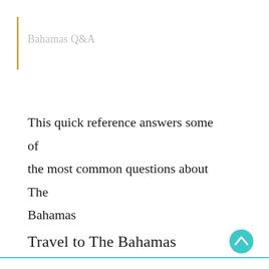Bahamas Q&A
This quick reference answers some of the most common questions about The Bahamas
Travel to The Bahamas